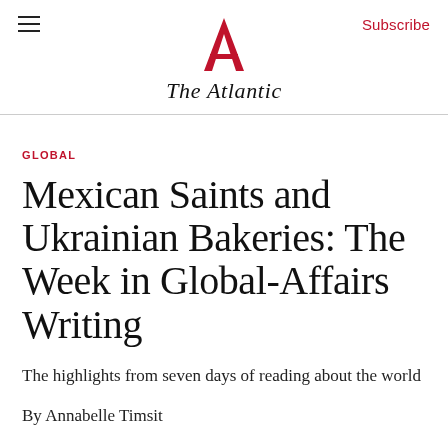The Atlantic
GLOBAL
Mexican Saints and Ukrainian Bakeries: The Week in Global-Affairs Writing
The highlights from seven days of reading about the world
By Annabelle Timsit